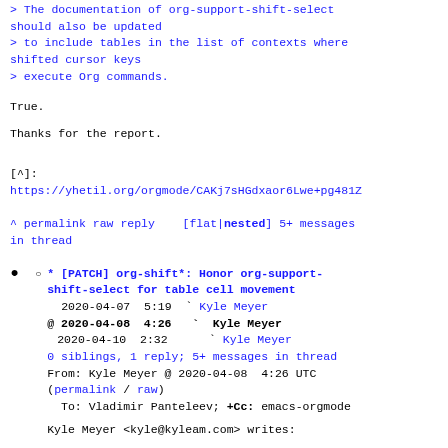> The documentation of org-support-shift-select should also be updated
> to include tables in the list of contexts where shifted cursor keys
> execute Org commands.
True.
Thanks for the report.
[^]:
https://yhetil.org/orgmode/CAKj7sHGdxaor6Lwe+pg481Z
^ permalink raw reply   [flat|nested] 5+ messages in thread
* [PATCH] org-shift*: Honor org-support-shift-select for table cell movement
2020-04-07  5:19  ` Kyle Meyer
@ 2020-04-08  4:26  ` Kyle Meyer
  2020-04-10  2:32    ` Kyle Meyer
  0 siblings, 1 reply; 5+ messages in thread
From: Kyle Meyer @ 2020-04-08  4:26 UTC (permalink / raw)
  To: Vladimir Panteleev; +Cc: emacs-orgmode

Kyle Meyer <kyle@kyleam.com> writes: